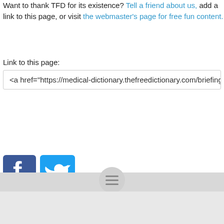Want to thank TFD for its existence? Tell a friend about us, add a link to this page, or visit the webmaster's page for free fun content.
Link to this page:
<a href="https://medical-dictionary.thefreedictionary.com/briefing">briefing
[Figure (other): Facebook and Twitter social media icon buttons]
[Figure (other): Bottom navigation bar with hamburger menu icon]